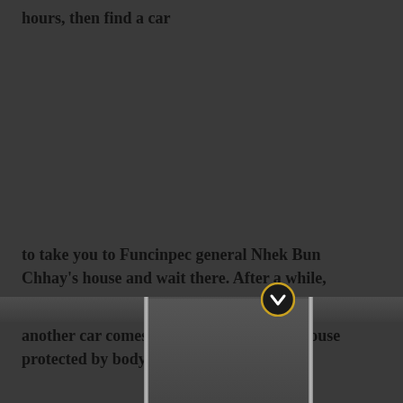hours, then find a car
to take you to Funcinpec general Nhek Bun Chhay's house and wait there. After a while,
another car comes to drive you to a safe-house protected by bodyguards.